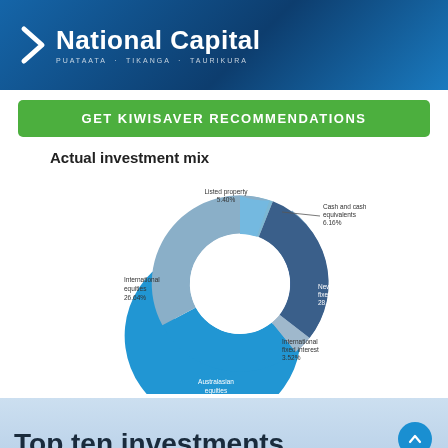National Capital — PUATAATA · TIKANGA · TAURIKURA
GET KIWISAVER RECOMMENDATIONS
Actual investment mix
[Figure (donut-chart): Actual investment mix]
Top ten investments